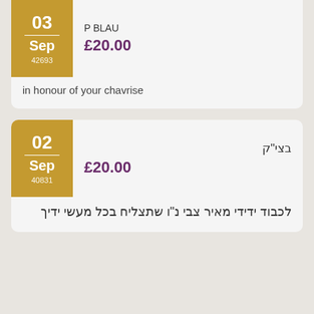P BLAU
£20.00
03
Sep
42693
in honour of your chavrise
בצי"ק
£20.00
02
Sep
40831
לכבוד ידידי מאיר צבי נ"ו שתצליח בכל מעשי ידיך